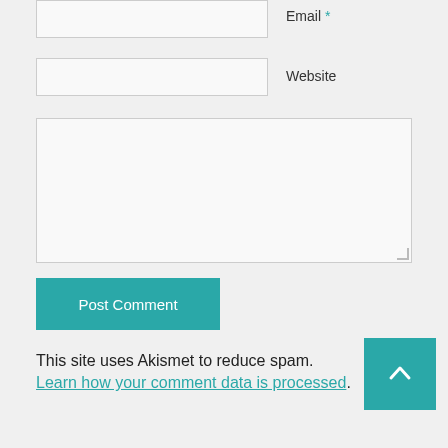Email *
[Figure (screenshot): Email input text field]
Website
[Figure (screenshot): Website input text field]
[Figure (screenshot): Comment textarea]
Post Comment
This site uses Akismet to reduce spam. Learn how your comment data is processed.